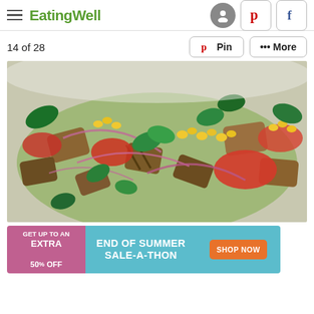EatingWell
14 of 28
[Figure (photo): Close-up photo of a panzanella or bread salad with grilled bread chunks, tomatoes, corn, red onion, and fresh basil leaves in a bowl]
[Figure (infographic): Advertisement banner: GET UP TO AN EXTRA 50% OFF — END OF SUMMER SALE-A-THON — SHOP NOW button]